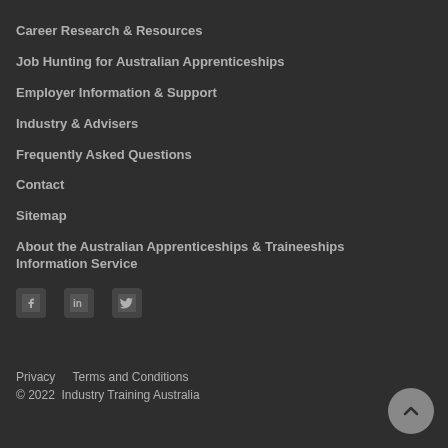Career Research & Resources
Job Hunting for Australian Apprenticeships
Employer Information & Support
Industry & Advisers
Frequently Asked Questions
Contact
Sitemap
About the Australian Apprenticeships & Traineeships Information Service
[Figure (infographic): Social media icons for Facebook, LinkedIn, and Twitter]
Privacy   Terms and Conditions
© 2022  Industry Training Australia